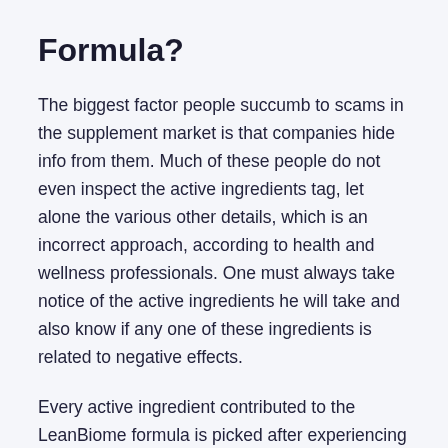Formula?
The biggest factor people succumb to scams in the supplement market is that companies hide info from them. Much of these people do not even inspect the active ingredients tag, let alone the various other details, which is an incorrect approach, according to health and wellness professionals. One must always take notice of the active ingredients he will take and also know if any one of these ingredients is related to negative effects.
Every active ingredient contributed to the LeanBiome formula is picked after experiencing the research data showing its benefits. Utilizing the